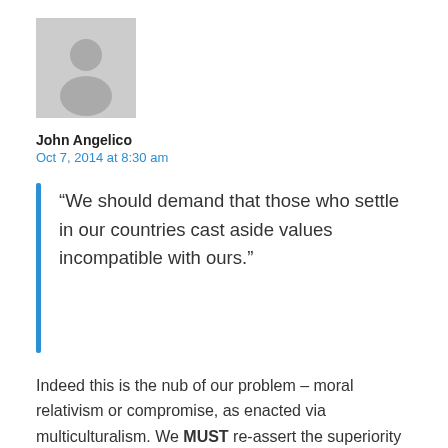[Figure (photo): Default grey avatar/profile placeholder image showing a silhouette of a person]
John Angelico
Oct 7, 2014 at 8:30 am
“We should demand that those who settle in our countries cast aside values incompatible with ours.”
Indeed this is the nub of our problem – moral relativism or compromise, as enacted via multiculturalism. We MUST re-assert the superiority of our values over Islamic values.